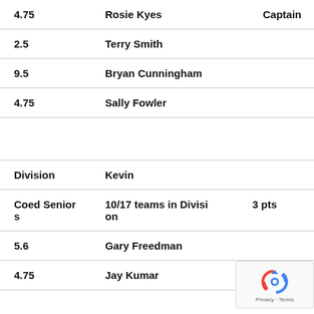|  |  |  |
| --- | --- | --- |
| 4.75 | Rosie Kyes | Captain |
| 2.5 | Terry Smith |  |
| 9.5 | Bryan Cunningham |  |
| 4.75 | Sally Fowler |  |
|  |  |  |
| Division | Kevin |  |
| Coed Seniors | 10/17 teams in Division | 3 pts |
| 5.6 | Gary Freedman |  |
| 4.75 | Jay Kumar |  |